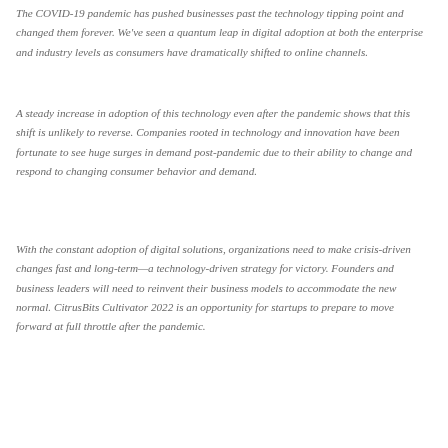The COVID-19 pandemic has pushed businesses past the technology tipping point and changed them forever. We've seen a quantum leap in digital adoption at both the enterprise and industry levels as consumers have dramatically shifted to online channels.
A steady increase in adoption of this technology even after the pandemic shows that this shift is unlikely to reverse. Companies rooted in technology and innovation have been fortunate to see huge surges in demand post-pandemic due to their ability to change and respond to changing consumer behavior and demand.
With the constant adoption of digital solutions, organizations need to make crisis-driven changes fast and long-term—a technology-driven strategy for victory. Founders and business leaders will need to reinvent their business models to accommodate the new normal. CitrusBits Cultivator 2022 is an opportunity for startups to prepare to move forward at full throttle after the pandemic.